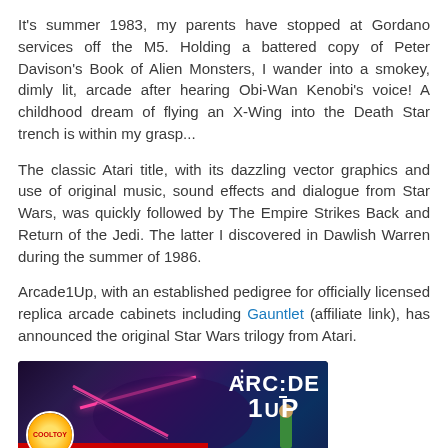It's summer 1983, my parents have stopped at Gordano services off the M5. Holding a battered copy of Peter Davison's Book of Alien Monsters, I wander into a smokey, dimly lit, arcade after hearing Obi-Wan Kenobi's voice! A childhood dream of flying an X-Wing into the Death Star trench is within my grasp...
The classic Atari title, with its dazzling vector graphics and use of original music, sound effects and dialogue from Star Wars, was quickly followed by The Empire Strikes Back and Return of the Jedi. The latter I discovered in Dawlish Warren during the summer of 1986.
Arcade1Up, with an established pedigree for officially licensed replica arcade cabinets including Gauntlet (affiliate link), has announced the original Star Wars trilogy from Atari.
[Figure (screenshot): A YouTube video thumbnail showing 'Arcade1Up Star W...' with an arcade-themed background featuring neon pink lighting and the Arcade1Up logo. The channel icon shows the CoolToy logo in the bottom left.]